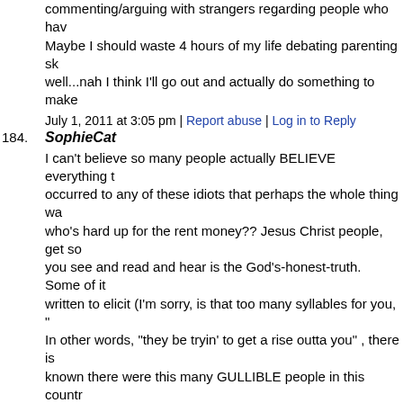commenting/arguing with strangers regarding people who have... Maybe I should waste 4 hours of my life debating parenting sk... well...nah I think I'll go out and actually do something to make...
July 1, 2011 at 3:05 pm | Report abuse | Log in to Reply
184. SophieCat
I can't believe so many people actually BELIEVE everything t... occurred to any of these idiots that perhaps the whole thing wa... who's hard up for the rent money?? Jesus Christ people, get so... you see and read and hear is the God's-honest-truth. Some of it... written to elicit (I'm sorry, is that too many syllables for you, "... In other words, "they be tryin' to get a rise outta you" , there is... known there were this many GULLIBLE people in this countr... and moved to Arizona to sell their beachfront property. Sheesh...
July 1, 2011 at 2:57 pm | Report abuse | Log in to Reply
185. GHIGGS
I think it's safe to say this case is a tragedy. This woman was c... when she had these children. There was never any intervention... mental stability. And the medical professionals failed her. So th... around. The thing to do now is to see to the welfare of these ch... chance at life.
July 1, 2011 at 2:53 pm | Report abuse | Log in to Reply